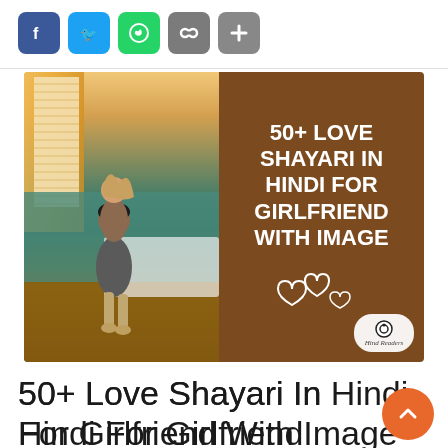[Figure (other): Social media share icons: Facebook, Twitter, WhatsApp, Copy Link, and Plus/Share buttons]
[Figure (illustration): Featured blog post image: left half shows a couple in a room (man lifting woman), right half is brown background with white bold text '50+ LOVE SHAYARI IN HINDI FOR GIRLFRIEND WITH IMAGE' and heart decorations, logo badge bottom right]
50+ Love Shayari In Hindi For Girlfriend With Image
4 Comments / couple, English Shayari, girlfriend, hindi 2 line shayari, Hindi shayari, love, love shayari, missing you